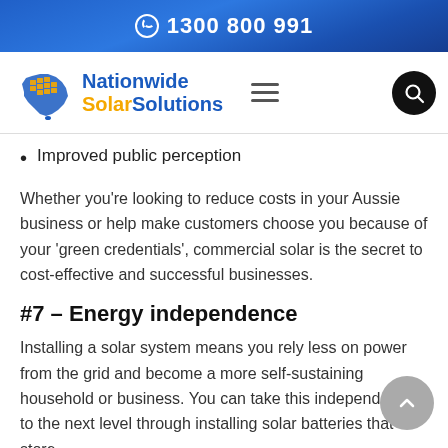☎ 1300 800 991
[Figure (logo): Nationwide Solar Solutions logo with Australian map silhouette in blue and gold, company name in blue and gold text]
Improved public perception
Whether you’re looking to reduce costs in your Aussie business or help make customers choose you because of your ‘green credentials’, commercial solar is the secret to cost-effective and successful businesses.
#7 – Energy independence
Installing a solar system means you rely less on power from the grid and become a more self-sustaining household or business. You can take this independence to the next level through installing solar batteries that store